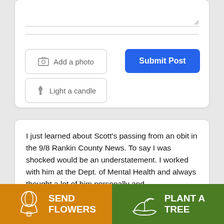[Figure (screenshot): Web form UI with Add a photo button, Submit Post blue button, Light a candle button, and a text input area]
I just learned about Scott's passing from an obit in the 9/8 Rankin County News. To say I was shocked would be an understatement. I worked with him at the Dept. of Mental Health and always thought a lot of him personally and
[Figure (infographic): Send Flowers orange button with flower icon and Plant a Tree green button with plant/hand icon]